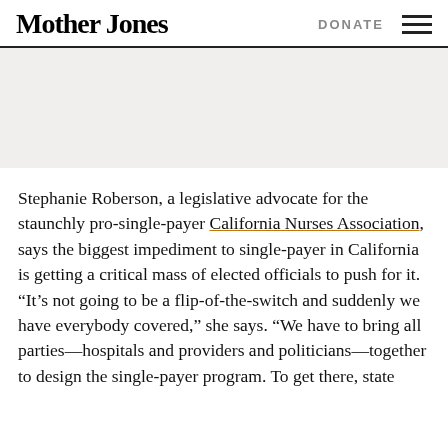Mother Jones | DONATE
[Figure (other): Gray banner/advertisement placeholder area]
Stephanie Roberson, a legislative advocate for the staunchly pro-single-payer California Nurses Association, says the biggest impediment to single-payer in California is getting a critical mass of elected officials to push for it. “It’s not going to be a flip-of-the-switch and suddenly we have everybody covered,” she says. “We have to bring all parties—hospitals and providers and politicians—together to design the single-payer program. To get there, state